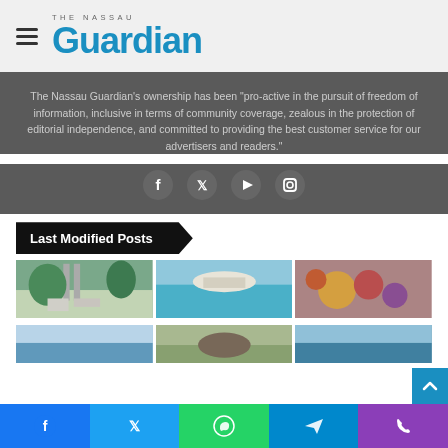THE NASSAU Guardian
The Nassau Guardian's ownership has been “pro-active in the pursuit of freedom of information, inclusive in terms of community coverage, zealous in the protection of editorial independence, and committed to providing the best customer service for our advertisers and readers.”
[Figure (infographic): Social media icons: Facebook, Twitter, YouTube, Instagram]
Last Modified Posts
[Figure (photo): Outdoor monument or park area with palm trees]
[Figure (photo): Tropical island with turquoise water]
[Figure (photo): Close-up of colorful flowers or food]
[Figure (photo): Sky with clouds, partial view]
[Figure (photo): Outdoor scene, partial view]
[Figure (photo): Water or beach scene, partial view]
Facebook | Twitter | WhatsApp | Telegram | Phone